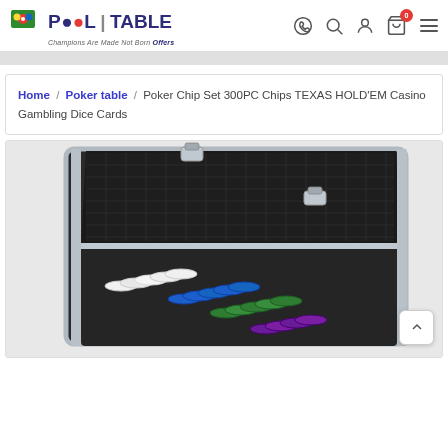Pool Table Offers — site header with logo and navigation icons
Home / Poker table / Poker Chip Set 300PC Chips TEXAS HOLD'EM Casino Gambling Dice Cards
[Figure (photo): Open aluminum carrying case with black foam interior showing poker chips in various colors (white, blue, green, purple) arranged in rows inside the case.]